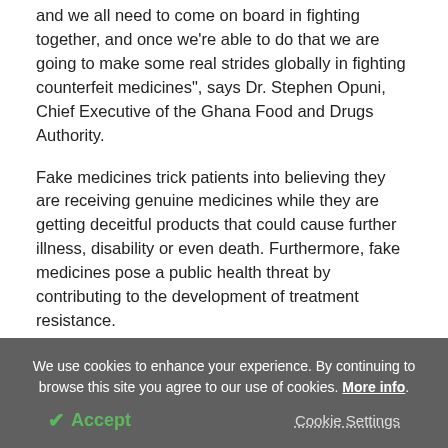and we all need to come on board in fighting together, and once we're able to do that we are going to make some real strides globally in fighting counterfeit medicines", says Dr. Stephen Opuni, Chief Executive of the Ghana Food and Drugs Authority.
Fake medicines trick patients into believing they are receiving genuine medicines while they are getting deceitful products that could cause further illness, disability or even death. Furthermore, fake medicines pose a public health threat by contributing to the development of treatment resistance.
We use cookies to enhance your experience. By continuing to browse this site you agree to our use of cookies. More info.